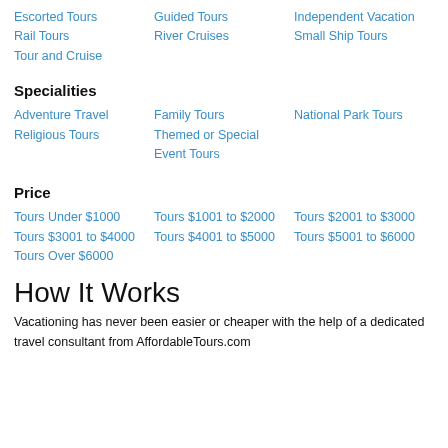Escorted Tours
Guided Tours
Independent Vacation
Rail Tours
River Cruises
Small Ship Tours
Tour and Cruise
Specialities
Adventure Travel
Family Tours
National Park Tours
Religious Tours
Themed or Special Event Tours
Price
Tours Under $1000
Tours $1001 to $2000
Tours $2001 to $3000
Tours $3001 to $4000
Tours $4001 to $5000
Tours $5001 to $6000
Tours Over $6000
How It Works
Vacationing has never been easier or cheaper with the help of a dedicated travel consultant from AffordableTours.com